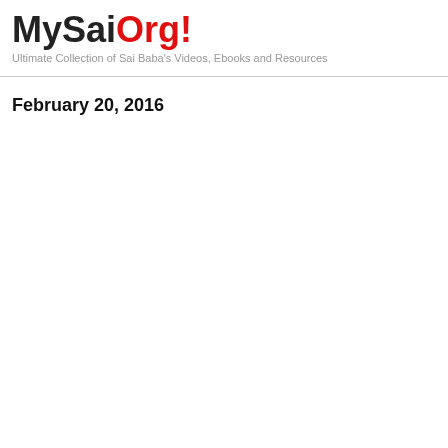MySaiOrg! Ultimate Collection of Sai Baba's Videos, Ebooks and Resources
February 20, 2016